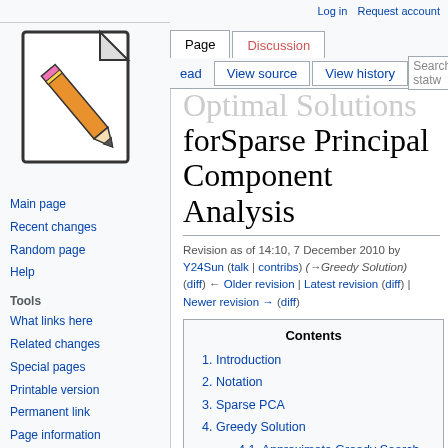[Figure (logo): Wikipedia-style wiki logo: document page with pencil icon]
Log in  Request account
Page  Discussion  |  Read  View source  View history  | Search statw
Optimal Solutions forSparse Principal Component Analysis
Revision as of 14:10, 7 December 2010 by Y24Sun (talk | contribs) (→Greedy Solution) (diff) ← Older revision | Latest revision (diff) | Newer revision → (diff)
Contents
1  Introduction
2  Notation
3  Sparse PCA
4  Greedy Solution
4.1  Approximate Greedy Search Algorithm
Main page
Recent changes
Random page
Help
Tools
What links here
Related changes
Special pages
Printable version
Permanent link
Page information